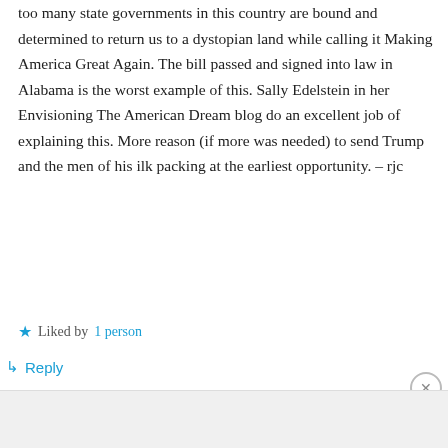too many state governments in this country are bound and determined to return us to a dystopian land while calling it Making America Great Again. The bill passed and signed into law in Alabama is the worst example of this. Sally Edelstein in her Envisioning The American Dream blog do an excellent job of explaining this. More reason (if more was needed) to send Trump and the men of his ilk packing at the earliest opportunity. – rjc
Liked by 1 person
Reply
[Figure (screenshot): Advertisement banner for Laurel Road Loyalty Checking: 'Earn up to $540 in cash rewards in your first year.' with Laurel Road logo on the right.]